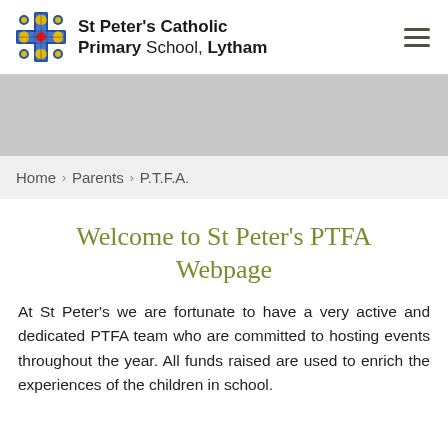[Figure (logo): St Peter's Catholic Primary School, Lytham school logo with cross and decorative emblem]
St Peter's Catholic Primary School, Lytham
Home > Parents > P.T.F.A.
Welcome to St Peter's PTFA Webpage
At St Peter's we are fortunate to have a very active and dedicated PTFA team who are committed to hosting events throughout the year. All funds raised are used to enrich the experiences of the children in school.